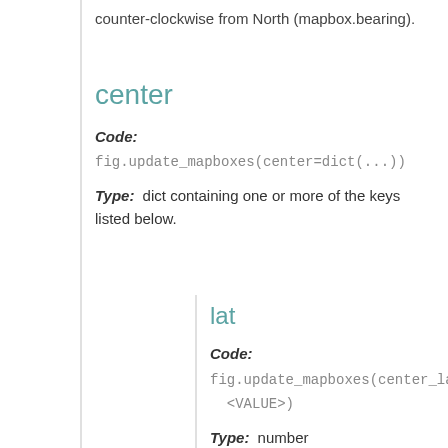counter-clockwise from North (mapbox.bearing).
center
Code:  fig.update_mapboxes(center=dict(...))
Type: dict containing one or more of the keys listed below.
lat
Code:  fig.update_mapboxes(center_lat=<VALUE>)
Type: number
Default:  0
Sets the latitude of the center of the map (in degrees North).